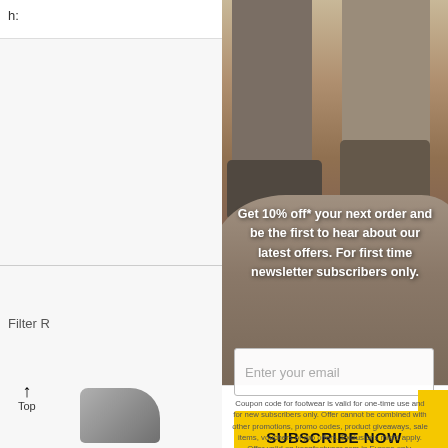h:
Sear
Filter R
[Figure (photo): Popup modal overlay showing two people's lower legs and boots standing on a rocky outdoor surface, with a newsletter signup form]
Get 10% off* your next order and be the first to hear about our latest offers. For first time newsletter subscribers only.
Enter your email
SUBSCRIBE NOW
Top
Coupon code for footwear is valid for one-time use and for new subscribers only. Offer cannot be combined with other promotions, promo codes, product giveaways, sale items, vouchers or pro offers. Exclusions might apply. Offer valid on keenfootwear.com in Europe only.